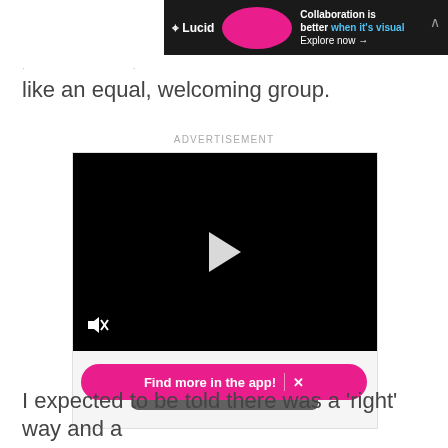[Figure (screenshot): Lucid advertisement banner: dark background with Lucid logo, person image on pink circle, text 'Collaboration is better when it's visual. Explore now →']
like an equal, welcoming group.
ADVERTISEMENT
[Figure (screenshot): Video advertisement player (black screen with play button and mute icon) and a 'Learn more' button below it]
Find more in the app!
I expected to be told there was a 'right' way and a